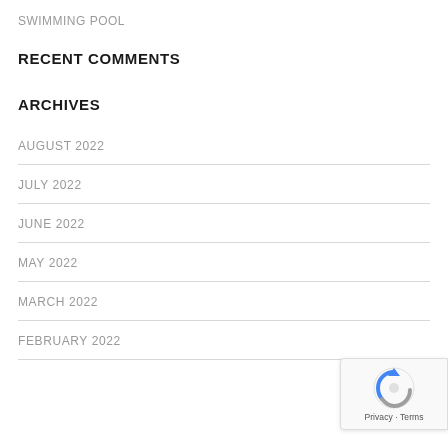SWIMMING POOL
RECENT COMMENTS
ARCHIVES
AUGUST 2022
JULY 2022
JUNE 2022
MAY 2022
MARCH 2022
FEBRUARY 2022
[Figure (other): reCAPTCHA badge with Privacy and Terms links]